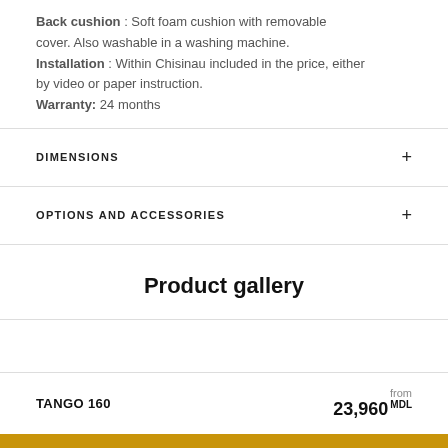Back cushion : Soft foam cushion with removable cover. Also washable in a washing machine. Installation : Within Chisinau included in the price, either by video or paper instruction. Warranty: 24 months
DIMENSIONS
OPTIONS AND ACCESSORIES
Product gallery
TANGO 160
from 23,960 MDL